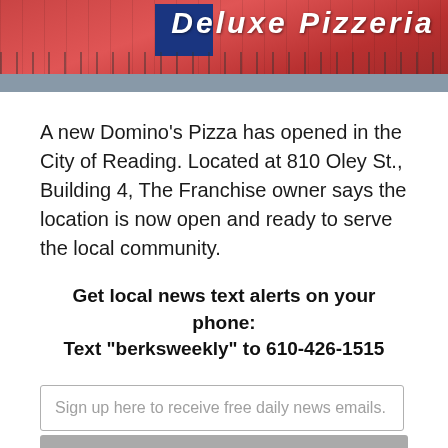[Figure (photo): Photo of a Domino's Pizza storefront with red exterior, blue sign, and metal fence, partially visible at top of page]
A new Domino's Pizza has opened in the City of Reading. Located at 810 Oley St., Building 4, The Franchise owner says the location is now open and ready to serve the local community.
Get local news text alerts on your phone: Text “berksweekly” to 610-426-1515
Sign up here to receive free daily news emails.
Subscribe
“We are thrilled to bring a new Domino’s location to this area and its residents,” said Mike Khan, Reading Domino’s franchise owner. “We look forward to